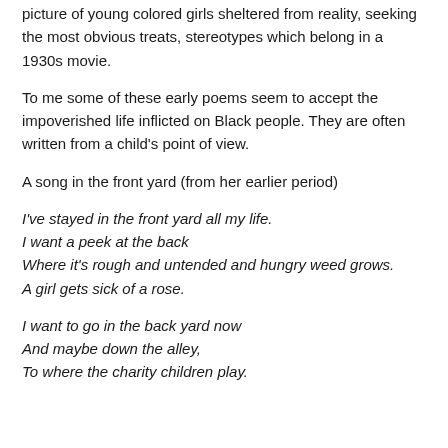picture of young colored girls sheltered from reality, seeking the most obvious treats, stereotypes which belong in a 1930s movie.
To me some of these early poems seem to accept the impoverished life inflicted on Black people. They are often written from a child’s point of view.
A song in the front yard (from her earlier period)
I’ve stayed in the front yard all my life.
I want a peek at the back
Where it’s rough and untended and hungry weed grows.
A girl gets sick of a rose.
I want to go in the back yard now
And maybe down the alley,
To where the charity children play.